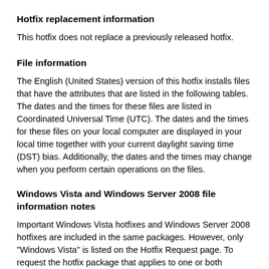Hotfix replacement information
This hotfix does not replace a previously released hotfix.
File information
The English (United States) version of this hotfix installs files that have the attributes that are listed in the following tables. The dates and the times for these files are listed in Coordinated Universal Time (UTC). The dates and the times for these files on your local computer are displayed in your local time together with your current daylight saving time (DST) bias. Additionally, the dates and the times may change when you perform certain operations on the files.
Windows Vista and Windows Server 2008 file information notes
Important Windows Vista hotfixes and Windows Server 2008 hotfixes are included in the same packages. However, only "Windows Vista" is listed on the Hotfix Request page. To request the hotfix package that applies to one or both operating systems, select the hotfix that is listed under "Windows Vista" on the page.